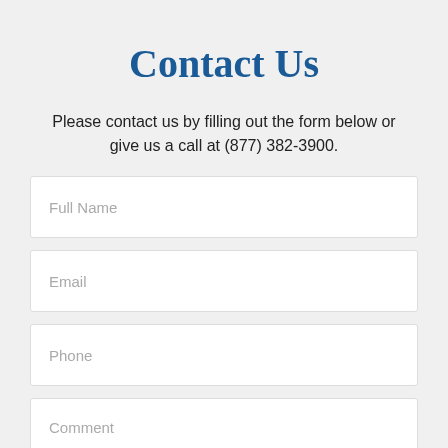Contact Us
Please contact us by filling out the form below or give us a call at (877) 382-3900.
Full Name
Email
Phone
Comment